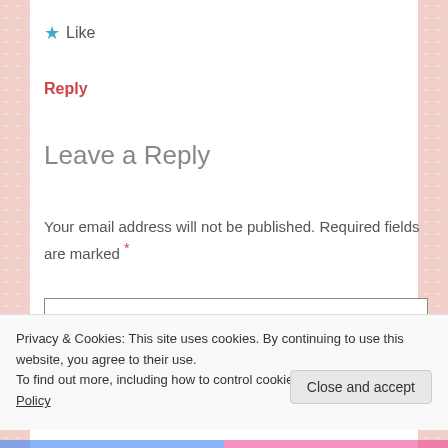[Figure (other): Star/Like button with blue star icon and 'Like' text]
Reply
Leave a Reply
Your email address will not be published. Required fields are marked *
COMMENT *
Privacy & Cookies: This site uses cookies. By continuing to use this website, you agree to their use.
To find out more, including how to control cookies, see here: Cookie Policy